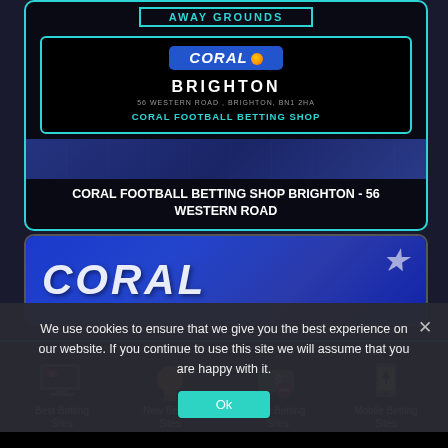[Figure (screenshot): Coral Football Betting Shop Brighton info card with logo, address and teal border on dark background]
CORAL FOOTBALL BETTING SHOP BRIGHTON - 56 WESTERN ROAD
[Figure (photo): Coral betting shop exterior sign photo - blue sign with CORAL text in white italic]
We use cookies to ensure that we give you the best experience on our website. If you continue to use this site we will assume that you are happy with it.
[Figure (infographic): Footer navigation icons: Best Betting Sites (monitor with bet slip), New Betting Sites (bell), Free Betting Sites (money with minus), Mobile Betting Sites (phone with spade)]